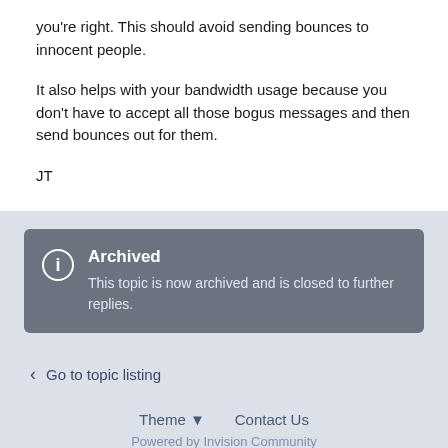you're right. This should avoid sending bounces to innocent people.
It also helps with your bandwidth usage because you don't have to accept all those bogus messages and then send bounces out for them.
JT
Archived
This topic is now archived and is closed to further replies.
Go to topic listing
Theme ▼   Contact Us
Powered by Invision Community